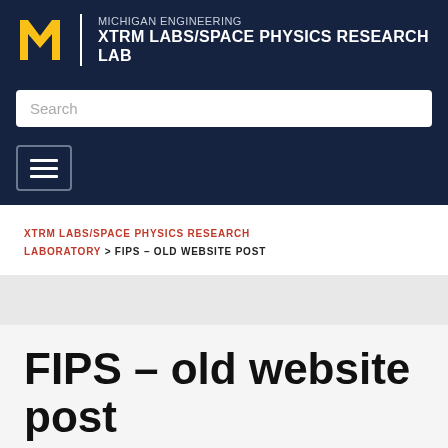[Figure (logo): University of Michigan Engineering / XTRM Labs/Space Physics Research Lab header logo with block M in yellow and text in white on dark navy background]
[Figure (screenshot): Search input box with placeholder text 'Search']
[Figure (screenshot): Hamburger menu toggle button with three horizontal lines]
XTRM LABS/SPACE PHYSICS RESEARCH LABORATORY > FIPS – OLD WEBSITE POST
FIPS – old website post